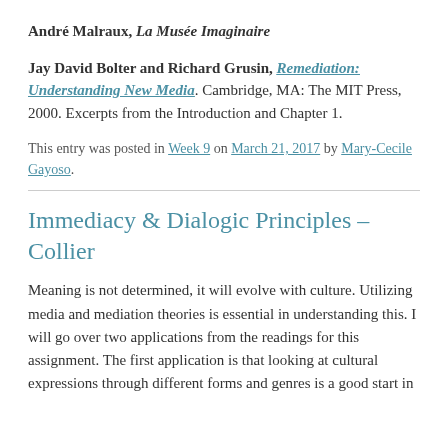André Malraux, La Musée Imaginaire
Jay David Bolter and Richard Grusin, Remediation: Understanding New Media. Cambridge, MA: The MIT Press, 2000. Excerpts from the Introduction and Chapter 1.
This entry was posted in Week 9 on March 21, 2017 by Mary-Cecile Gayoso.
Immediacy & Dialogic Principles – Collier
Meaning is not determined, it will evolve with culture. Utilizing media and mediation theories is essential in understanding this. I will go over two applications from the readings for this assignment. The first application is that looking at cultural expressions through different forms and genres is a good start in